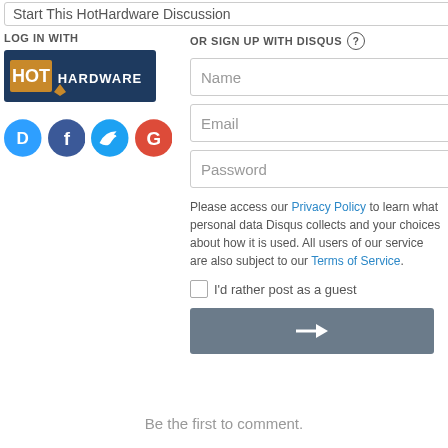Start This HotHardware Discussion
LOG IN WITH
[Figure (logo): HotHardware logo - white text on dark blue background]
[Figure (illustration): Social login icons: Disqus (blue chat bubble with D), Facebook (dark blue circle with f), Twitter (cyan circle with bird), Google (red circle with G)]
OR SIGN UP WITH DISQUS
Name
Email
Password
Please access our Privacy Policy to learn what personal data Disqus collects and your choices about how it is used. All users of our service are also subject to our Terms of Service.
I'd rather post as a guest
Be the first to comment.